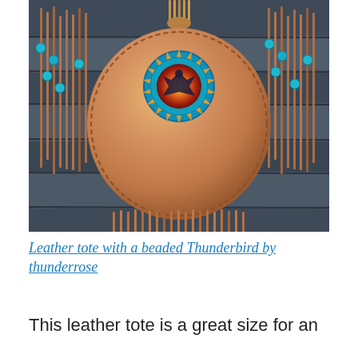[Figure (photo): A leather tote bag with a beaded Thunderbird medallion in turquoise, red, orange, and yellow, featuring long leather fringe on the sides and bottom, and turquoise beads on the strands. The bag is displayed against a grey weathered wood background.]
Leather tote with a beaded Thunderbird by thunderrose
This leather tote is a great size for an